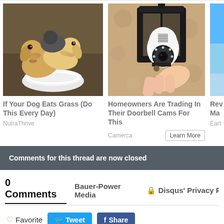[Figure (photo): Three puppies eating from a white bowl on the ground]
[Figure (photo): A smart security camera bulb being installed in an outdoor wall lantern fixture]
[Figure (photo): Partially visible third article image, blue/grey tones]
If Your Dog Eats Grass (Do This Every Day)
NutraThrive
Homeowners Are Trading In Their Doorbell Cams For This
Camerca
Learn More
Rev La Ma
Eart
Comments for this thread are now closed
0 Comments
Bauer-Power Media
🔒 Disqus' Privacy Po
Favorite
Tweet
Share